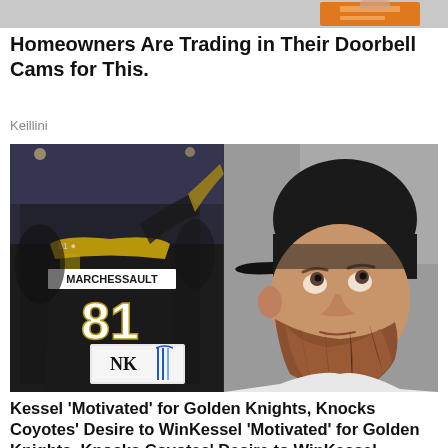[Figure (photo): Partial top strip of an advertisement image showing orange object on grey background]
Homeowners Are Trading in Their Doorbell Cams for This.
Keillini
[Figure (photo): Left half: hockey player with jersey number 81 MARCHESSAULT celebrating with teammates, Vegas Golden Knights. Right half: bearded man with black cap looking upward, selfie/reaction photo.]
Kessel 'Motivated' for Golden Knights, Knocks Coyotes' Desire to WinKessel 'Motivated' for Golden Knights, Knocks Coyotes' Desire to WinKessel...